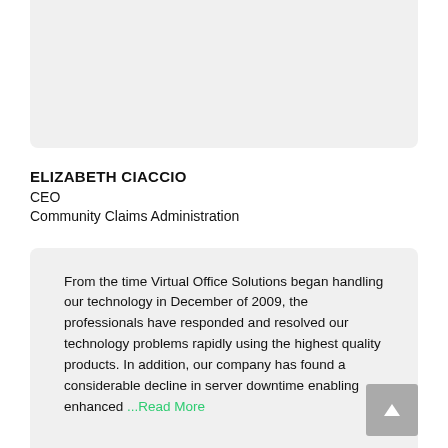ELIZABETH CIACCIO
CEO
Community Claims Administration
From the time Virtual Office Solutions began handling our technology in December of 2009, the professionals have responded and resolved our technology problems rapidly using the highest quality products. In addition, our company has found a considerable decline in server downtime enabling enhanced ...Read More